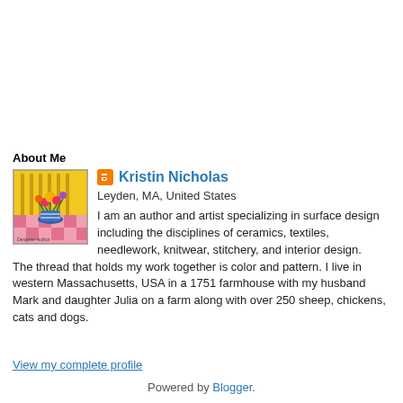About Me
[Figure (illustration): Profile image showing a colorful illustrated artwork of a flower vase on a pink checkered tablecloth with yellow background, signed 'Kristin Nicholas']
Kristin Nicholas
Leyden, MA, United States
I am an author and artist specializing in surface design including the disciplines of ceramics, textiles, needlework, knitwear, stitchery, and interior design. The thread that holds my work together is color and pattern. I live in western Massachusetts, USA in a 1751 farmhouse with my husband Mark and daughter Julia on a farm along with over 250 sheep, chickens, cats and dogs.
View my complete profile
Powered by Blogger.